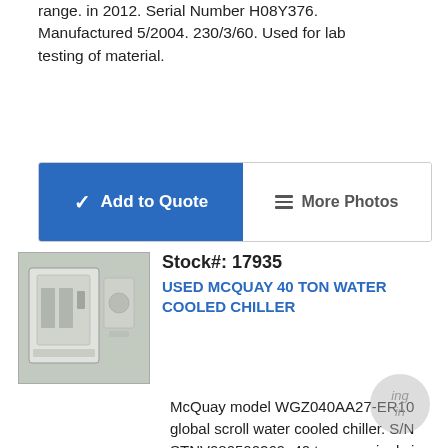range. in 2012. Serial Number H08Y376. Manufactured 5/2004. 230/3/60. Used for lab testing of material.
Add to Quote | More Photos
Stock#: 17935
USED MCQUAY 40 TON WATER COOLED CHILLER
[Figure (photo): Photo of a used McQuay 40 ton water cooled chiller unit, grey/white industrial equipment]
McQuay model WGZ040AA27-ER10 global scroll water cooled chiller. S/N STNV080500269. 40 tons nominal via four ten-ton compressors in two circuits of 25/ 50 /75 unloading steps with remote condenser. 47 lbs. R407C refrigerant each circuit. 2005 model year. Special handling required: spreader bars must be used to prevent damage to the copper tubing in both the chiller unit and condenser during unloading and installation. The procedure is included in the manual. Standard flatbed required for